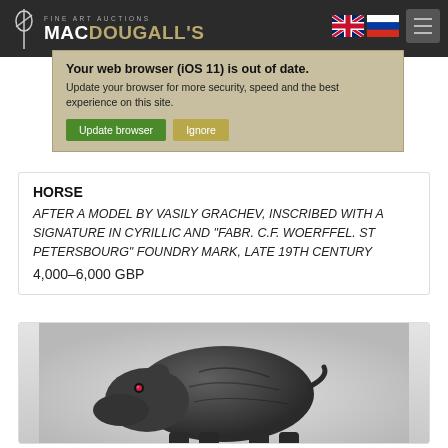MacDougall's Fine Art Auctions
Your web browser (iOS 11) is out of date. Update your browser for more security, speed and the best experience on this site.
HORSE
AFTER A MODEL BY VASILY GRACHEV, INSCRIBED WITH A SIGNATURE IN CYRILLIC AND "FABR. C.F. WOERFFEL. ST PETERSBOURG" FOUNDRY MARK, LATE 19TH CENTURY
4,000–6,000 GBP
[Figure (photo): Bronze sculpture of a hippopotamus with ruby/gem eyes, dark patina, late 19th century style, photographed against a light grey gradient background]